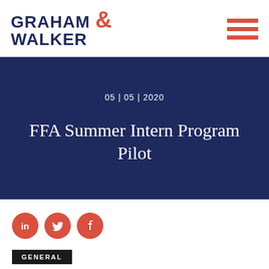GRAHAM & WALKER
05 | 05 | 2020
FFA Summer Intern Program Pilot
[Figure (infographic): Social media icons: LinkedIn, Twitter, Facebook — orange circles with white icons]
GENERAL